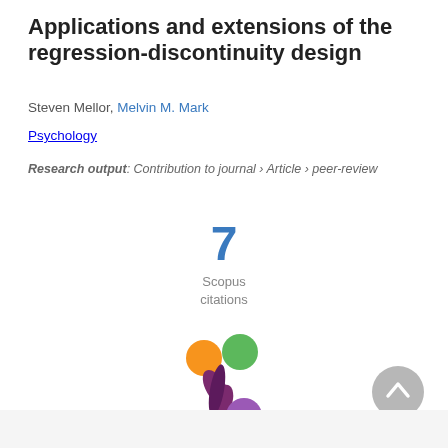Applications and extensions of the regression-discontinuity design
Steven Mellor, Melvin M. Mark
Psychology
Research output: Contribution to journal › Article › peer-review
[Figure (infographic): Scopus citations badge showing 7 citations]
[Figure (logo): Altmetric flower logo with colored circles in orange, green, and purple]
[Figure (other): Scroll-to-top circular button with upward chevron arrow]